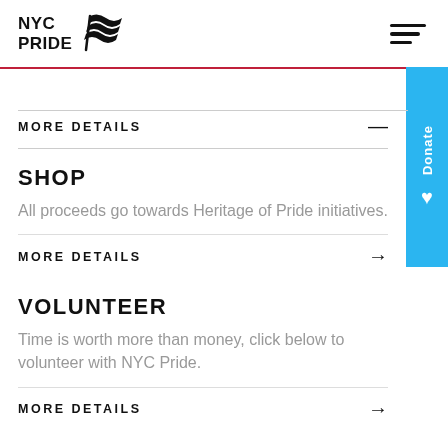NYC PRIDE
MORE DETAILS
SHOP
All proceeds go towards Heritage of Pride initiatives.
MORE DETAILS
VOLUNTEER
Time is worth more than money, click below to volunteer with NYC Pride.
MORE DETAILS